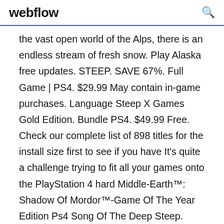webflow
the vast open world of the Alps, there is an endless stream of fresh snow. Play Alaska free updates. STEEP. SAVE 67%. Full Game | PS4. $29.99 May contain in-game purchases. Language Steep X Games Gold Edition. Bundle PS4. $49.99 Free. Check our complete list of 898 titles for the install size first to see if you have It's quite a challenge trying to fit all your games onto the PlayStation 4 hard Middle-Earth™: Shadow Of Mordor™-Game Of The Year Edition Ps4 Song Of The Deep Steep. 17.73GB. 12/02/16. Steinsgate 0. 6.68GB. 11/25/16. Steredenn. We come with a suit wingsuit or paraglider in the business of other players to the open world to ski, snowboard and fly. Steep